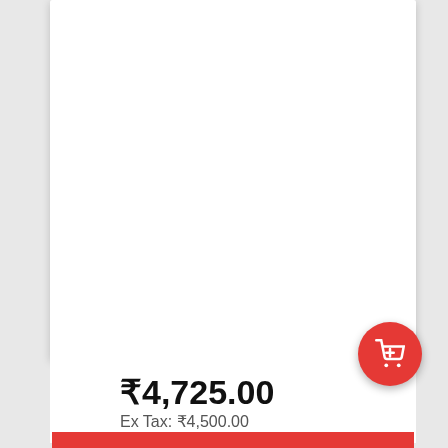₹4,725.00
Ex Tax: ₹4,500.00
BROWSE
Pure Mysore Silk Saree D107